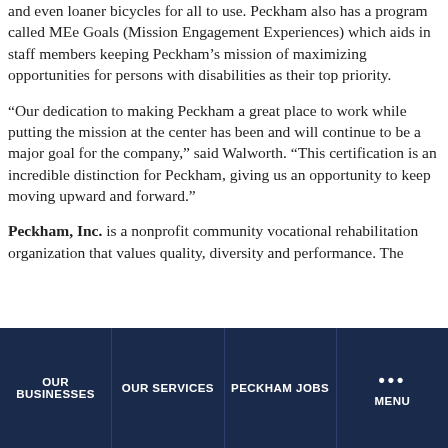and even loaner bicycles for all to use. Peckham also has a program called MEe Goals (Mission Engagement Experiences) which aids in staff members keeping Peckham’s mission of maximizing opportunities for persons with disabilities as their top priority.
“Our dedication to making Peckham a great place to work while putting the mission at the center has been and will continue to be a major goal for the company,” said Walworth. “This certification is an incredible distinction for Peckham, giving us an opportunity to keep moving upward and forward.”
Peckham, Inc. is a nonprofit community vocational rehabilitation organization that values quality, diversity and performance. The
OUR BUSINESSES | OUR SERVICES | PECKHAM JOBS | MENU